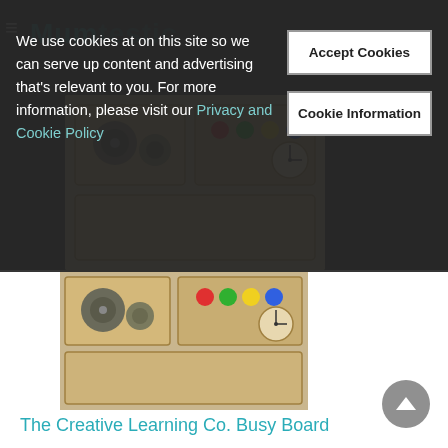[Figure (photo): Cookie consent overlay on a website. Dark semi-transparent background with text about cookie usage, a teal/cyan link for Privacy and Cookie Policy, an Accept Cookies button, and a Cookie Information button.]
We use cookies at on this site so we can serve up content and advertising that's relevant to you. For more information, please visit our Privacy and Cookie Policy
Accept Cookies
Cookie Information
[Figure (photo): Wooden busy board toy with gears, buttons, and interactive elements on a light wooden surface.]
The Creative Learning Co. Busy Board
[Figure (photo): Three stuffed animal toys - a pink pig, a white dog, and an orange fox - each with a button detail on their chest.]
Pockimals: Where Stuffed Animals And Fashion Meet